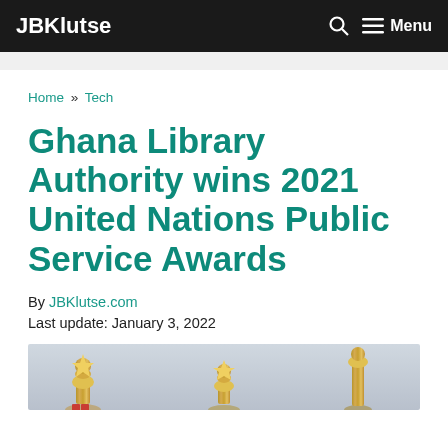JBKlutse — Menu
Home » Tech
Ghana Library Authority wins 2021 United Nations Public Service Awards
By JBKlutse.com
Last update: January 3, 2022
[Figure (photo): Gold trophy awards on a surface, partially visible at the bottom of the page]